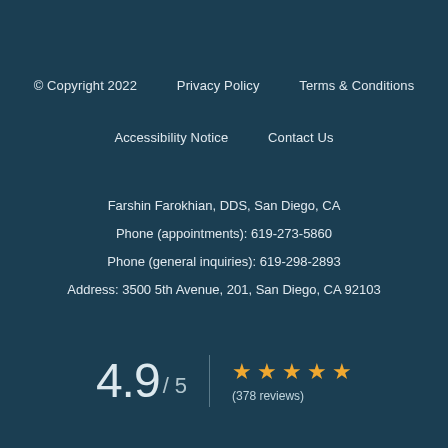© Copyright 2022    Privacy Policy    Terms & Conditions
Accessibility Notice    Contact Us
Farshin Farokhian, DDS, San Diego, CA
Phone (appointments): 619-273-5860
Phone (general inquiries): 619-298-2893
Address: 3500 5th Avenue, 201, San Diego, CA 92103
4.9 / 5  ★★★★★  (378 reviews)